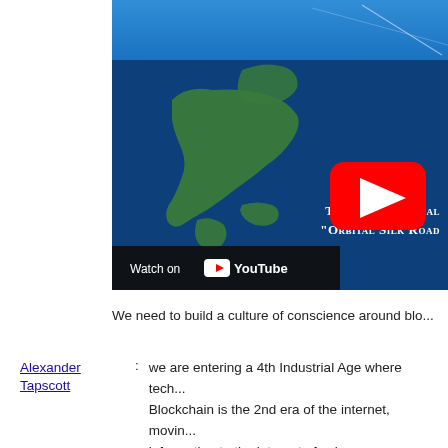[Figure (screenshot): YouTube video thumbnail showing a satellite view of Japan from orbit with blue Earth atmosphere. Shows a red YouTube play button in the upper right area. Text overlaid reads 'Travel the Global "Orbital Silk Road'. Bottom left shows 'Watch on YouTube' bar.]
We need to build a culture of conscience around blo...
Alexander Tapscott : we are entering a 4th Industrial Age where tech... Blockchain is the 2nd era of the internet, movin... information to the internet of value